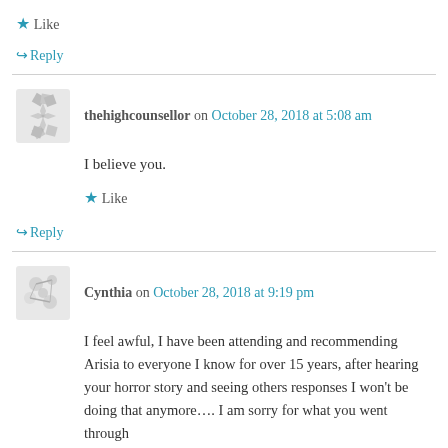★ Like
↪ Reply
thehighcounsellor on October 28, 2018 at 5:08 am
I believe you.
★ Like
↪ Reply
Cynthia on October 28, 2018 at 9:19 pm
I feel awful, I have been attending and recommending Arisia to everyone I know for over 15 years, after hearing your horror story and seeing others responses I won't be doing that anymore.... I am sorry for what you went through